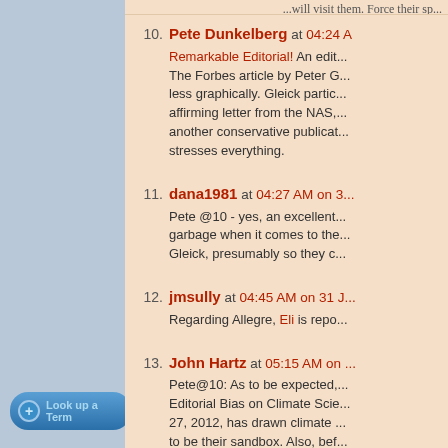10. Pete Dunkelberg at 04:24 A... Remarkable Editorial! An edit... The Forbes article by Peter G... less graphically. Gleick partic... affirming letter from the NAS,... another conservative publicat... stresses everything.
11. dana1981 at 04:27 AM on 3... Pete @10 - yes, an excellent... garbage when it comes to the... Gleick, presumably so they c...
12. jmsully at 04:45 AM on 31 J... Regarding Allegre, Eli is repo...
13. John Hartz at 05:15 AM on... Pete@10: As to be expected,... Editorial Bias on Climate Scie... 27, 2012, has drawn climate... to be their sandbox. Also, bef...